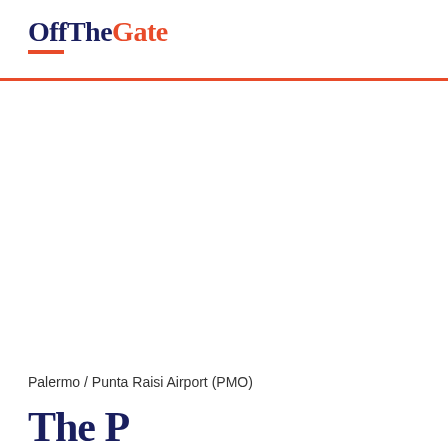OffTheGate
Palermo / Punta Raisi Airport (PMO)